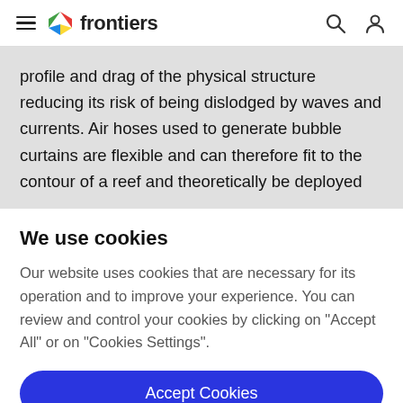frontiers
profile and drag of the physical structure reducing its risk of being dislodged by waves and currents. Air hoses used to generate bubble curtains are flexible and can therefore fit to the contour of a reef and theoretically be deployed
We use cookies
Our website uses cookies that are necessary for its operation and to improve your experience. You can review and control your cookies by clicking on "Accept All" or on "Cookies Settings".
Accept Cookies
Cookies Settings